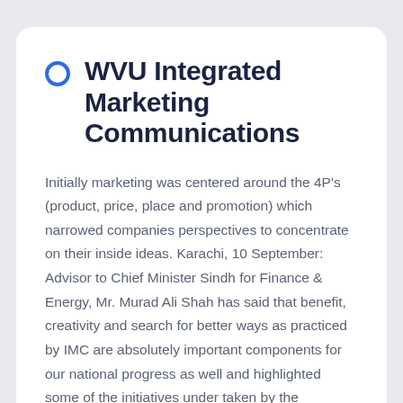WVU Integrated Marketing Communications
Initially marketing was centered around the 4P's (product, price, place and promotion) which narrowed companies perspectives to concentrate on their inside ideas. Karachi, 10 September: Advisor to Chief Minister Sindh for Finance & Energy, Mr. Murad Ali Shah has said that benefit, creativity and search for better ways as practiced by IMC are absolutely important components for our national progress as well and highlighted some of the initiatives under taken by the Authorities on this regards, he was the chief guest at Indus Motor Company's (IMC) 21st Annual QCC (High quality Management Circle) Conference underneath the theme